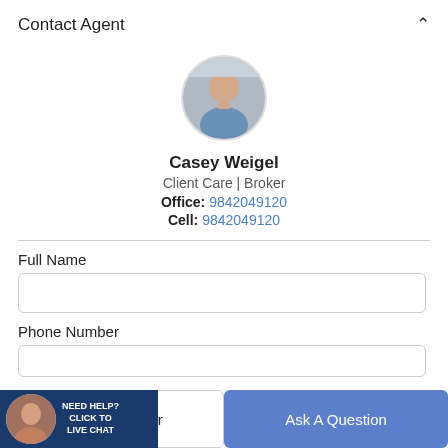Contact Agent
[Figure (photo): Circular headshot photo of Casey Weigel, a man in a blue shirt]
Casey Weigel
Client Care | Broker
Office: 9842049120
Cell: 9842049120
Full Name
Phone Number
a Tour
Ask A Question
[Figure (photo): Live chat widget showing a woman's headshot with text: NEED HELP? CLICK TO LIVE CHAT on a dark blue background]